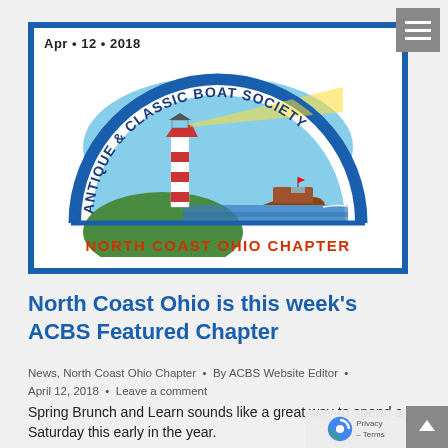[Figure (logo): Antique & Classic Boat Society – North Coast Ohio Chapter logo with lighthouse, boat, and circular text. Date stamp: Apr • 12 • 2018]
North Coast Ohio is this week's ACBS Featured Chapter
News, North Coast Ohio Chapter • By ACBS Website Editor • April 12, 2018 • Leave a comment
Spring Brunch and Learn sounds like a great way to spend a Saturday this early in the year.